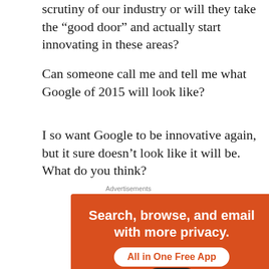scrutiny of our industry or will they take the “good door” and actually start innovating in these areas?
Can someone call me and tell me what Google of 2015 will look like?
I so want Google to be innovative again, but it sure doesn’t look like it will be. What do you think?
Advertisements
[Figure (screenshot): DuckDuckGo advertisement banner with orange background. Text reads: 'Search, browse, and email with more privacy. All in One Free App'. Shows a smartphone with the DuckDuckGo duck logo.]